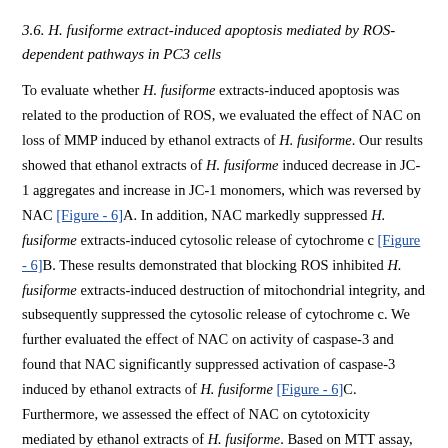3.6. H. fusiforme extract-induced apoptosis mediated by ROS-dependent pathways in PC3 cells
To evaluate whether H. fusiforme extracts-induced apoptosis was related to the production of ROS, we evaluated the effect of NAC on loss of MMP induced by ethanol extracts of H. fusiforme. Our results showed that ethanol extracts of H. fusiforme induced decrease in JC-1 aggregates and increase in JC-1 monomers, which was reversed by NAC [Figure - 6]A. In addition, NAC markedly suppressed H. fusiforme extracts-induced cytosolic release of cytochrome c [Figure - 6]B. These results demonstrated that blocking ROS inhibited H. fusiforme extracts-induced destruction of mitochondrial integrity, and subsequently suppressed the cytosolic release of cytochrome c. We further evaluated the effect of NAC on activity of caspase-3 and found that NAC significantly suppressed activation of caspase-3 induced by ethanol extracts of H. fusiforme [Figure - 6]C. Furthermore, we assessed the effect of NAC on cytotoxicity mediated by ethanol extracts of H. fusiforme. Based on MTT assay, NAC significantly attenuated the suppressed cell viablity caused by ethanol extracts of H. fusiforme [Figure - 6]D as well as decreased DNA damage and apoptosis induced by ethanol extracts of H. fusiforme [Figure - 6]E and [Figure -